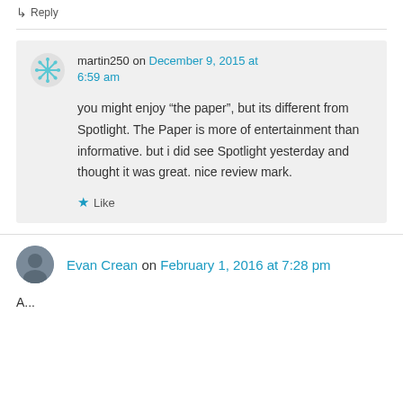↳ Reply
martin250 on December 9, 2015 at 6:59 am
you might enjoy “the paper”, but its different from Spotlight. The Paper is more of entertainment than informative. but i did see Spotlight yesterday and thought it was great. nice review mark.
Like
Evan Crean on February 1, 2016 at 7:28 pm
A...